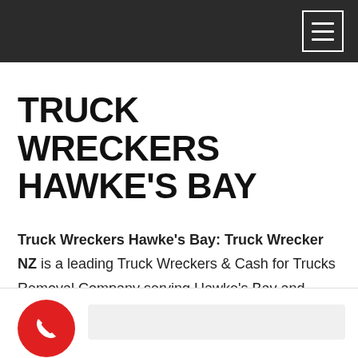[Navigation bar with hamburger menu icon]
TRUCK WRECKERS HAWKE'S BAY
Truck Wreckers Hawke's Bay: Truck Wrecker NZ is a leading Truck Wreckers & Cash for Trucks Removal Company serving Hawke's Bay and nearby areas.